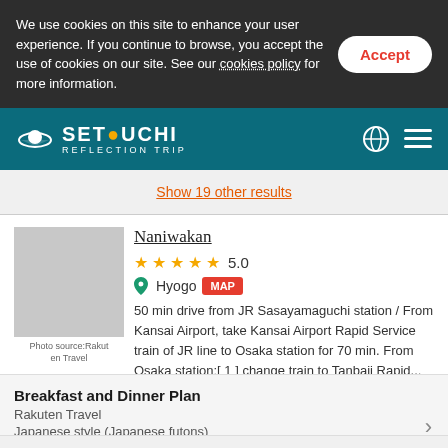We use cookies on this site to enhance your user experience. If you continue to browse, you accept the use of cookies on our site. See our cookies policy for more information.
SETOUCHI REFLECTION TRIP
Show 19 other results
Naniwakan
★★★★★ 5.0
Hyogo  MAP
50 min drive from JR Sasayamaguchi station / From Kansai Airport, take Kansai Airport Rapid Service train of JR line to Osaka station for 70 min. From Osaka station:[ 1 ] change train to Tanbaji Rapid...
Photo source:Rakuten Travel
Breakfast and Dinner Plan
Rakuten Travel
Japanese style (Japanese futons)
JPY 30,000〜